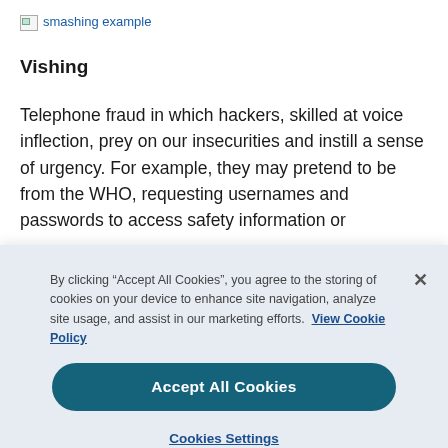[Figure (illustration): Broken image placeholder labeled 'smashing example']
Vishing
Telephone fraud in which hackers, skilled at voice inflection, prey on our insecurities and instill a sense of urgency. For example, they may pretend to be from the WHO, requesting usernames and passwords to access safety information or
By clicking “Accept All Cookies”, you agree to the storing of cookies on your device to enhance site navigation, analyze site usage, and assist in our marketing efforts.  View Cookie Policy
Accept All Cookies
Cookies Settings